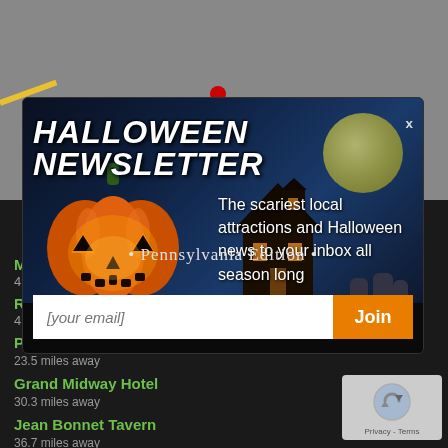[Figure (screenshot): Grey map background with red location dot and partial yellow road line visible behind the modal overlay]
[Figure (infographic): Halloween Newsletter modal popup with haunted house background, glowing pumpkin, moon, gravestones, title 'HALLOWEEN NEWSLETTER', tagline about scariest local attractions, Pennsylvania Edition, email signup form with Join button]
HALLOWEEN NEWSLETTER
The scariest local attractions and Halloween news to your inbox all season long
• Pennsylvania Edition •
[your email]
Join
Phimps Ranger Monument
23.5 miles away
Grand Midway Hotel
30.3 miles away
Jean Bonnet Tavern
36.7 miles away